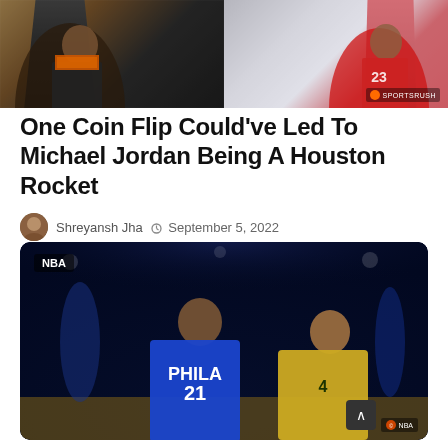[Figure (photo): Top banner image split into two panels: left panel shows a figure in dark jersey, right panel shows a player in red Houston Rockets jersey with number 23. SportsRush watermark visible.]
One Coin Flip Could've Led To Michael Jordan Being A Houston Rocket
Shreyansh Jha  September 5, 2022
[Figure (photo): NBA basketball game photo showing two players on court. A Philadelphia 76ers player wearing number 21 blue jersey and a Utah Jazz player in yellow/gold jersey. NBA watermark in bottom right corner.]